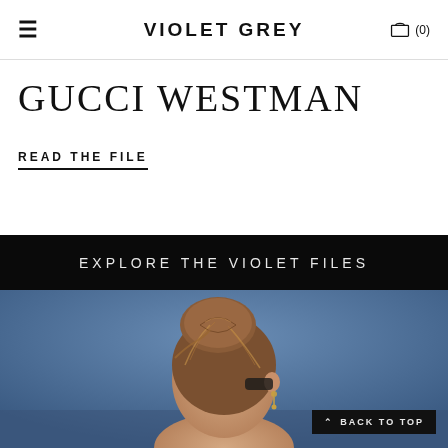VIOLET GREY
GUCCI WESTMAN
READ THE FILE
EXPLORE THE VIOLET FILES
[Figure (photo): Woman with brown hair in an elegant updo bun, photographed from behind/side against a blue sky backdrop, wearing earrings]
^ BACK TO TOP